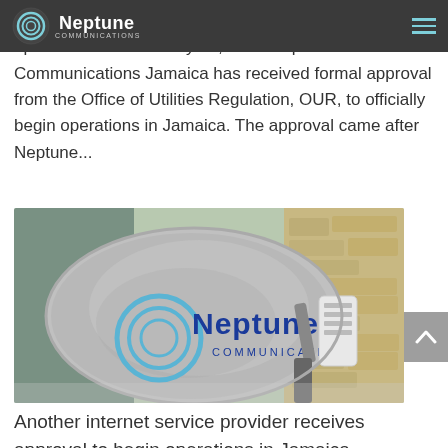Neptune Communications
Neptune Communications gets final OUR approval to operate in Jamaica May 30, 2022 Neptune Communications Jamaica has received formal approval from the Office of Utilities Regulation, OUR, to officially begin operations in Jamaica. The approval came after Neptune...
[Figure (photo): A grey satellite dish with Neptune Communications logo printed on it, mounted outdoors against a stone wall background, with a white radio unit attached to the arm.]
Another internet service provider receives approval to begin operations in Jamaica...